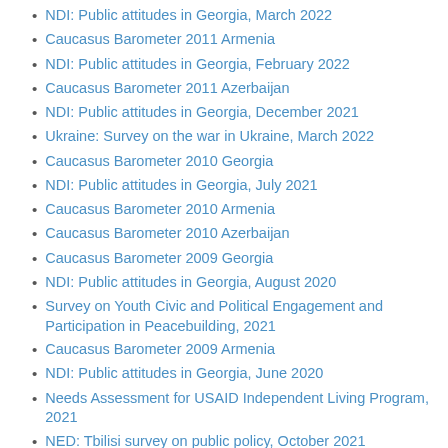NDI: Public attitudes in Georgia, March 2022
Caucasus Barometer 2011 Armenia
NDI: Public attitudes in Georgia, February 2022
Caucasus Barometer 2011 Azerbaijan
NDI: Public attitudes in Georgia, December 2021
Ukraine: Survey on the war in Ukraine, March 2022
Caucasus Barometer 2010 Georgia
NDI: Public attitudes in Georgia, July 2021
Caucasus Barometer 2010 Armenia
Caucasus Barometer 2010 Azerbaijan
Caucasus Barometer 2009 Georgia
NDI: Public attitudes in Georgia, August 2020
Survey on Youth Civic and Political Engagement and Participation in Peacebuilding, 2021
Caucasus Barometer 2009 Armenia
NDI: Public attitudes in Georgia, June 2020
Needs Assessment for USAID Independent Living Program, 2021
NED: Tbilisi survey on public policy, October 2021
Caucasus Barometer 2009 Azerbaijan
NDI: Public attitudes in Georgia, November-December 2019
NED: Tbilisi survey on public policy, August 2021
Caucasus Barometer 2008 Georgia